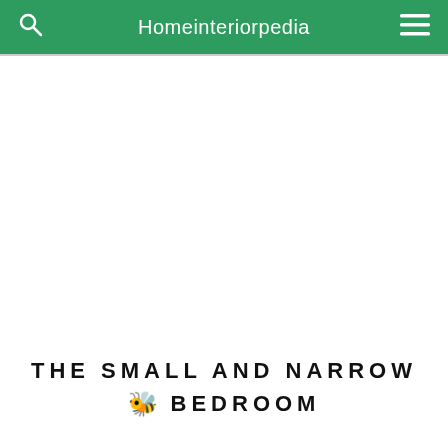Homeinteriorpedia
[Figure (other): Large white blank image area below the header]
THE SMALL AND NARROW BEDROOM